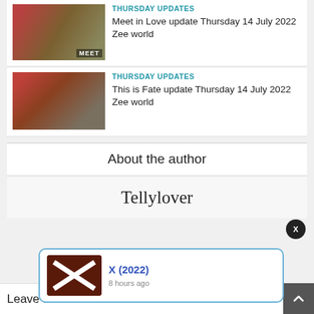[Figure (photo): TV show still image for Meet in Love update with MEET label]
THURSDAY UPDATES
Meet in Love update Thursday 14 July 2022 Zee world
[Figure (photo): TV show still image for This is Fate update]
THURSDAY UPDATES
This is Fate update Thursday 14 July 2022 Zee world
About the author
Tellylover
[Figure (photo): X (2022) movie poster with red X cross]
X (2022)
8 hours ago
Leave a Comment